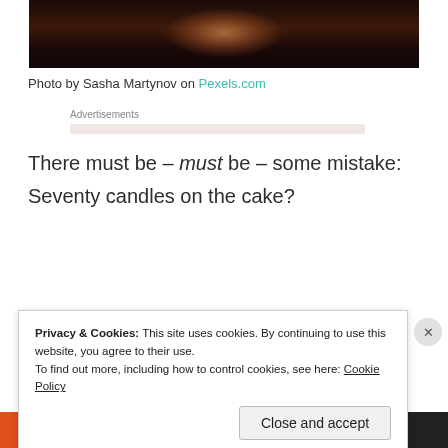[Figure (photo): Dark water surface with reflected light (sunset/moonlight) in orange-red tones, cropped at top]
Photo by Sasha Martynov on Pexels.com
Advertisements
There must be – must be – some mistake:
Seventy candles on the cake?
Privacy & Cookies: This site uses cookies. By continuing to use this website, you agree to their use.
To find out more, including how to control cookies, see here: Cookie Policy
Close and accept